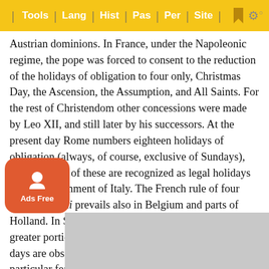Tools | Lang | Hist | Pas | Per | Site
Austrian dominions. In France, under the Napoleonic regime, the pope was forced to consent to the reduction of the holidays of obligation to four only, Christmas Day, the Ascension, the Assumption, and All Saints. For the rest of Christendom other concessions were made by Leo XII, and still later by his successors. At the present day Rome numbers eighteen holidays of obligation (always, of course, exclusive of Sundays), but only nine of these are recognized as legal holidays by the Government of Italy. The French rule of four festa præcepti prevails also in Belgium and parts of Holland. In Spain, in Austria, and throughout the greater portion of the German Empire, some fifteen days are observed, though both the total number and the particular feasts selected vary greatly in the different provinces. In and the holidays of obligation are the Circumcision, the hany, the Ascension, Corpus Christi, Sts. Peter and Paul, the Assumption, All Saints, and Christmas Day. To these two other [obscured] the feast [obscured] St.